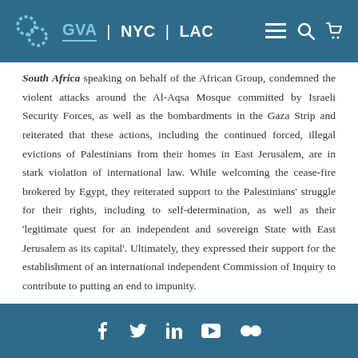GVA | NYC | LAC
South Africa speaking on behalf of the African Group, condemned the violent attacks around the Al-Aqsa Mosque committed by Israeli Security Forces, as well as the bombardments in the Gaza Strip and reiterated that these actions, including the continued forced, illegal evictions of Palestinians from their homes in East Jerusalem, are in stark violation of international law. While welcoming the cease-fire brokered by Egypt, they reiterated support to the Palestinians' struggle for their rights, including to self-determination, as well as their 'legitimate quest for an independent and sovereign State with East Jerusalem as its capital'. Ultimately, they expressed their support for the establishment of an international independent Commission of Inquiry to contribute to putting an end to impunity.
Social media links: Facebook, Twitter, LinkedIn, YouTube, Flickr